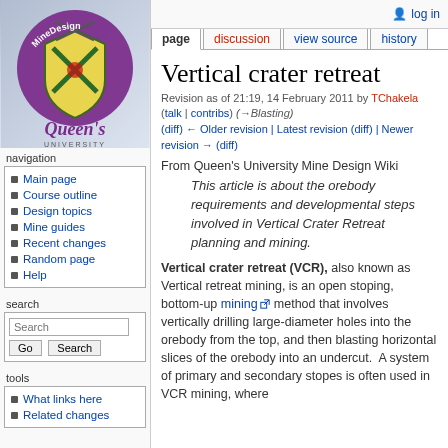log in
[Figure (logo): MineDesign Queen's University logo with shield and crossed pickaxes, purple text]
navigation
Main page
Course outline
Design topics
Mine guides
Recent changes
Random page
Help
search
tools
What links here
Related changes
Vertical crater retreat
Revision as of 21:19, 14 February 2011 by TChakela (talk | contribs) (→Blasting)
(diff) ← Older revision | Latest revision (diff) | Newer revision → (diff)
From Queen's University Mine Design Wiki
This article is about the orebody requirements and developmental steps involved in Vertical Crater Retreat planning and mining.
Vertical crater retreat (VCR), also known as Vertical retreat mining, is an open stoping, bottom-up mining method that involves vertically drilling large-diameter holes into the orebody from the top, and then blasting horizontal slices of the orebody into an undercut. A system of primary and secondary stopes is often used in VCR mining, where